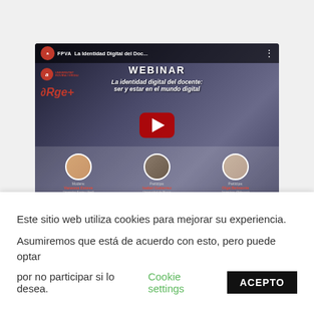[Figure (screenshot): Webinar video thumbnail titled 'La Identidad Digital del Docente: ser y estar en el mundo digital' featuring a YouTube play button, with moderator Vanessa Esteve (Universitat Rovira i Virgili), and participants Isabel Gutierrez (Universidad de Murcia) and Olga Belmonte]
Teacher's Digital Identity
Este sitio web utiliza cookies para mejorar su experiencia. Asumiremos que está de acuerdo con esto, pero puede optar por no participar si lo desea.
Cookie settings
ACEPTO